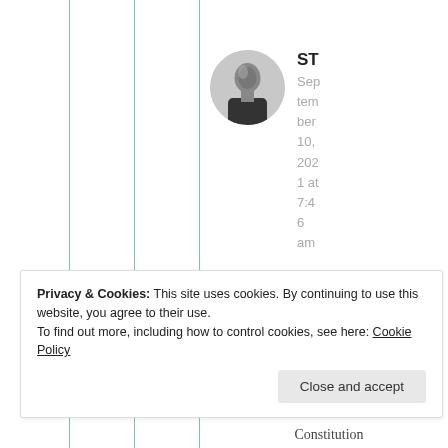person
[Figure (photo): Circular avatar photo of a person in dark clothing against a light background, labeled ST]
ST
September 10, 2021 at 7:46 am
Privacy & Cookies: This site uses cookies. By continuing to use this website, you agree to their use.
To find out more, including how to control cookies, see here: Cookie Policy
Close and accept
Constitution